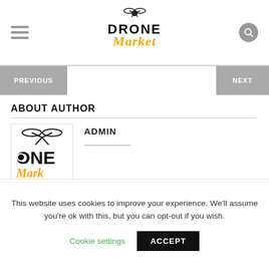DRONE Market
[Figure (screenshot): PREVIOUS and NEXT navigation buttons]
ABOUT AUTHOR
[Figure (logo): Drone Market logo used as author avatar]
ADMIN
This website uses cookies to improve your experience. We'll assume you're ok with this, but you can opt-out if you wish.
Cookie settings   ACCEPT